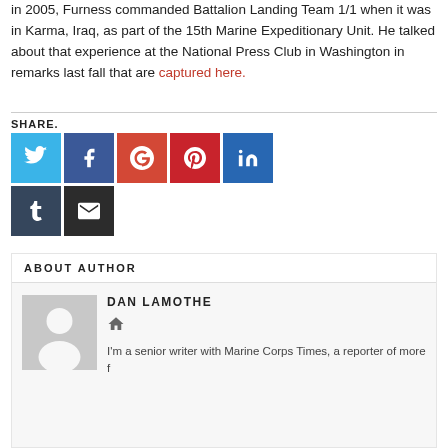in 2005, Furness commanded Battalion Landing Team 1/1 when it was in Karma, Iraq, as part of the 15th Marine Expeditionary Unit. He talked about that experience at the National Press Club in Washington in remarks last fall that are captured here.
SHARE.
[Figure (infographic): Social sharing buttons: Twitter, Facebook, Google+, Pinterest, LinkedIn, Tumblr, Email]
ABOUT AUTHOR
[Figure (photo): Author avatar placeholder silhouette]
DAN LAMOTHE
I'm a senior writer with Marine Corps Times, a reporter of more f...